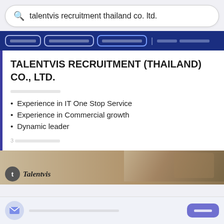talentvis recruitment thailand co. ltd.
[Thai navigation tabs: tab1, tab2, tab3 | Thai text link]
TALENTVIS RECRUITMENT (THAILAND) CO., LTD.
[Thai subtitle text]
Experience in IT One Stop Service
Experience in Commercial growth
Dynamic leader
3 [Thai time text]
[Figure (photo): Talentvis company banner with hands/puzzle image and Talentvis logo]
[Thai notification text] | [Thai button]